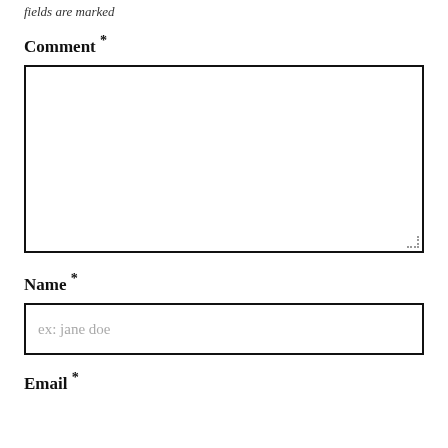fields are marked
Comment *
[Figure (other): Large empty textarea input box with resize handle in bottom-right corner]
Name *
[Figure (other): Single-line text input box with placeholder text 'ex: jane doe']
Email *